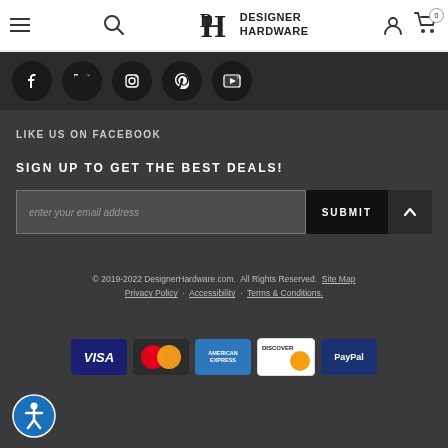Designer Hardware — navigation header with menu, search, logo, user account, and cart (0 items)
[Figure (screenshot): Social media icon bar with Facebook, Twitter, Instagram, Pinterest, and YouTube icons as dark circles]
LIKE US ON FACEBOOK
SIGN UP TO GET THE BEST DEALS!
[Figure (screenshot): Email signup form with text field placeholder 'enter your email address', SUBMIT button, and scroll-to-top arrow button]
© 2019-2022 DesignerHardware.com.  All Rights Reserved.  Site Map  Privacy Policy  Accessibility  Terms & Conditions.
[Figure (screenshot): Payment method icons: Visa, Mastercard, American Express, Discover, PayPal]
[Figure (screenshot): Accessibility icon button — blue circle with white person/wheelchair symbol]